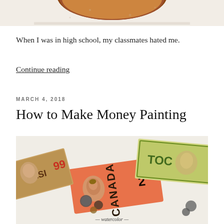[Figure (photo): Top portion of a painting partially visible at the top of the page, brown/warm tones on a textured white background]
When I was in high school, my classmates hated me.
Continue reading
MARCH 4, 2018
How to Make Money Painting
[Figure (photo): Watercolor painting of various currency bills including a Canadian two-dollar bill with a portrait, coins, and other international currencies scattered on a light background. Caption reads 'watercolor' at the bottom.]